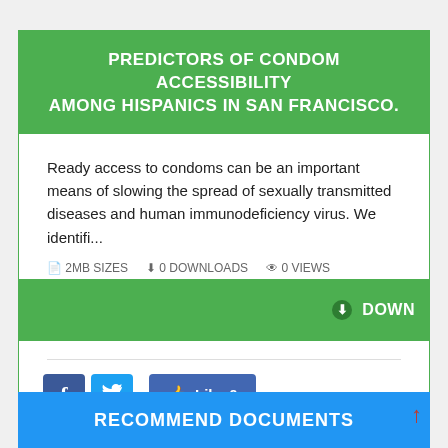PREDICTORS OF CONDOM ACCESSIBILITY AMONG HISPANICS IN SAN FRANCISCO.
Ready access to condoms can be an important means of slowing the spread of sexually transmitted diseases and human immunodeficiency virus. We identifi...
[Figure (screenshot): Green download button bar partially overlapping meta info row, showing download icon and 'DOWN' text (truncated)]
[Figure (screenshot): Social sharing buttons: Facebook (f), Twitter (bird icon), and a blue Like 0 button]
RECOMMEND DOCUMENTS